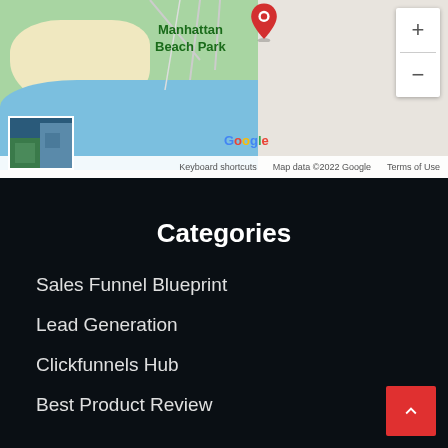[Figure (map): Google Maps screenshot showing Manhattan Beach Park area with blue water, green land, red location pin, satellite thumbnail, zoom controls, and Google logo. Footer shows 'Keyboard shortcuts', 'Map data ©2022 Google', 'Terms of Use'.]
Categories
Sales Funnel Blueprint
Lead Generation
Clickfunnels Hub
Best Product Review